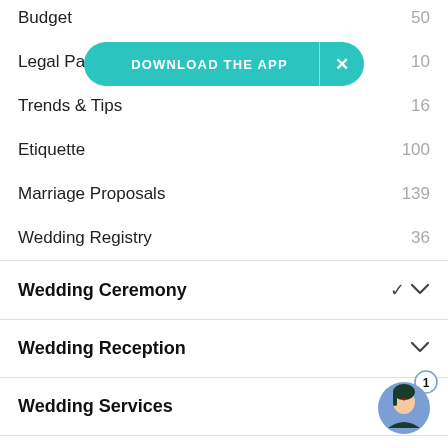Budget  50
[Figure (screenshot): Download the app banner (teal/turquoise pill-shaped button with 'DOWNLOAD THE APP' text and X close button)]
Legal Papers  10
Trends & Tips  16
Etiquette  100
Marriage Proposals  139
Wedding Registry  36
Wedding Ceremony
Wedding Reception
Wedding Services
Wedding Fashion
[Figure (illustration): Avatar/chat bubble with female illustration and notification badge showing 1]